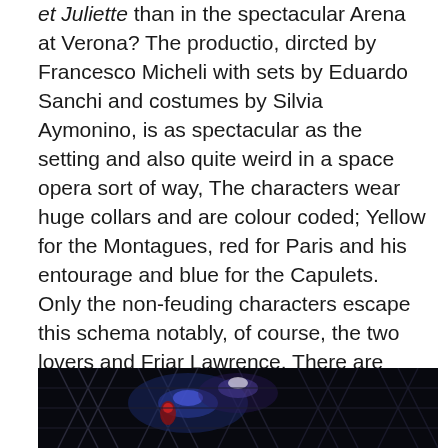et Juliette than in the spectacular Arena at Verona?  The productio, dircted by Francesco Micheli with sets by Eduardo Sanchi and costumes by Silvia Aymonino, is as spectacular as the setting and also quite weird in a space opera sort of way,  The characters wear huge collars and are colour coded; Yellow for the Montagues, red for Paris and his entourage and blue for the Capulets.  Only the non-feuding characters escape this schema notably, of course, the two lovers and Friar Lawrence.  There are also lots of colourful cage like structures that character pop in and out of or sing from and a huge chorus and crowd of supers flow all over the vast space.  It's amazing to look at and actually suits a straightforward telling of the story quite well.
[Figure (photo): Dark stage photo from an opera production at the Arena di Verona, showing a dark scene with structural cage-like elements illuminated against a dark background.]